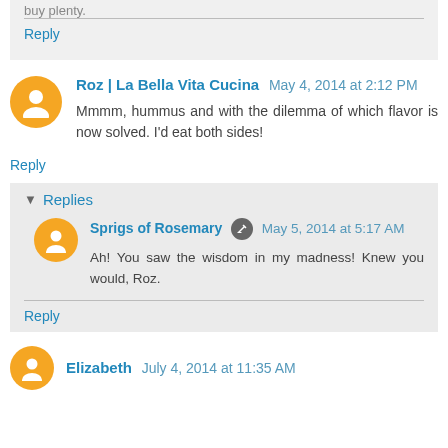buy plenty.
Reply
Roz | La Bella Vita Cucina  May 4, 2014 at 2:12 PM
Mmmm, hummus and with the dilemma of which flavor is now solved. I'd eat both sides!
Reply
Replies
Sprigs of Rosemary  May 5, 2014 at 5:17 AM
Ah! You saw the wisdom in my madness! Knew you would, Roz.
Reply
Elizabeth  July 4, 2014 at 11:35 AM